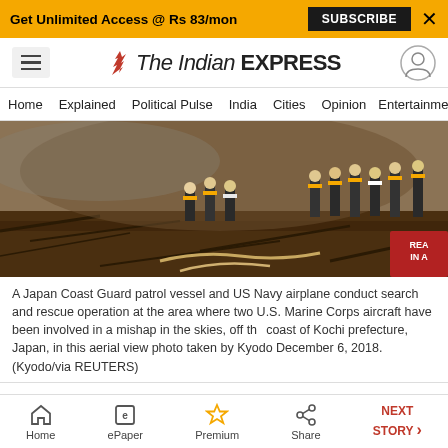Get Unlimited Access @ Rs 83/mon  SUBSCRIBE  X
The Indian EXPRESS
Home  Explained  Political Pulse  India  Cities  Opinion  Entertainment
[Figure (photo): Firefighters working amid debris at a disaster scene, aerial/ground view]
A Japan Coast Guard patrol vessel and US Navy airplane conduct search and rescue operation at the area where two U.S. Marine Corps aircraft have been involved in a mishap in the skies, off the coast of Kochi prefecture, Japan, in this aerial view photo taken by Kyodo December 6, 2018. (Kyodo/via REUTERS)
The incident adds to a growing list of US military aviation accidents around the world in recent years,
Home  ePaper  Premium  Share  NEXT STORY